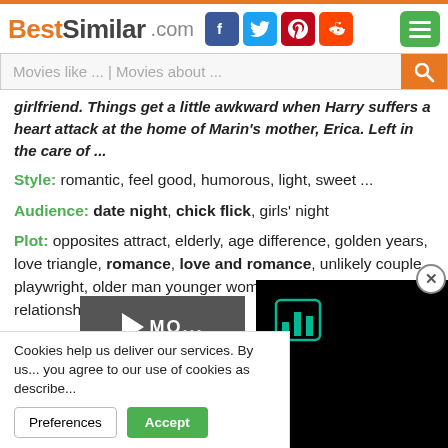BestSimilar.com
Movies like ... | Movies about ...
girlfriend. Things get a little awkward when Harry suffers a heart attack at the home of Marin's mother, Erica. Left in the care of ...
Style: romantic, feel good, humorous, light, sweet ...
Audience: date night, chick flick, girls' night
Plot: opposites attract, elderly, age difference, golden years, love triangle, romance, love and romance, unlikely couple, playwright, older man younger woman relationship, unlikely relationship, fall in love ...
Time: contemporary, 21st century
Place: new york, usa, afghanistan...
Cookies help us deliver our services. By us... you agree to our use of cookies as describe...